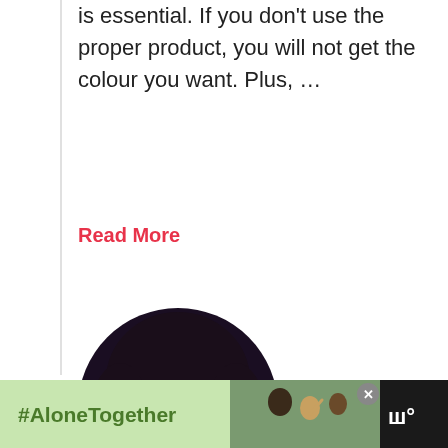is essential. If you don't use the proper product, you will not get the colour you want. Plus, …
Read More
[Figure (photo): Circular cropped portrait photo of a woman with dark curly hair, dramatic makeup, and gold earrings against a dark background.]
Best Perm For Fine Hair:
[Figure (photo): Advertisement banner: #AloneTogether with image of a family, and a network logo on the right.]